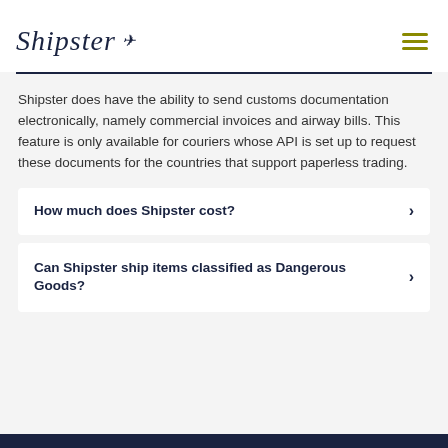Shipster
Shipster does have the ability to send customs documentation electronically, namely commercial invoices and airway bills. This feature is only available for couriers whose API is set up to request these documents for the countries that support paperless trading.
How much does Shipster cost?
Can Shipster ship items classified as Dangerous Goods?